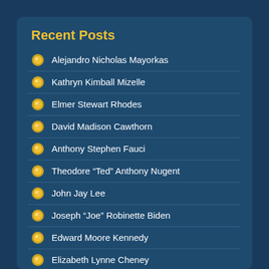Recent Posts
Alejandro Nicholas Mayorkas
Kathryn Kimball Mizelle
Elmer Stewart Rhodes
David Madison Cawthorn
Anthony Stephen Fauci
Theodore “Ted” Anthony Nugent
John Jay Lee
Joseph “Joe” Robinette Biden
Edward Moore Kennedy
Elizabeth Lynne Cheney
Mark Zuckerberg
Brian J. Smith